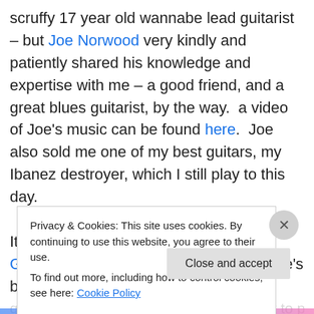scruffy 17 year old wannabe lead guitarist – but Joe Norwood very kindly and patiently shared his knowledge and expertise with me – a good friend, and a great blues guitarist, by the way.  a video of Joe's music can be found here.  Joe also sold me one of my best guitars, my Ibanez destroyer, which I still play to this day.
It was fantastic fun, "While My Guitar Gentle Weeps" is certainly one of George's best-known tracks, and I think, quite a remarkable tune.  It's very difficult to play well, the
Privacy & Cookies: This site uses cookies. By continuing to use this website, you agree to their use.
To find out more, including how to control cookies, see here: Cookie Policy